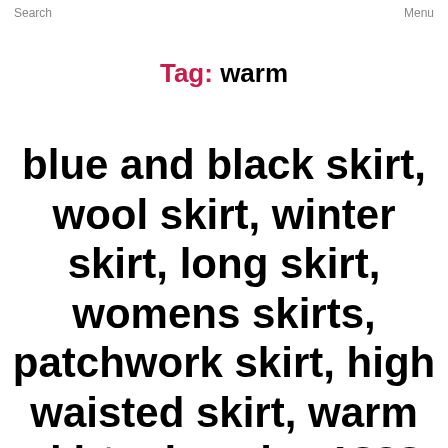Search    Menu
Tag: warm
blue and black skirt, wool skirt, winter skirt, long skirt, womens skirts, patchwork skirt, high waisted skirt, warm skirt, plus size 1838 by xiaolizi